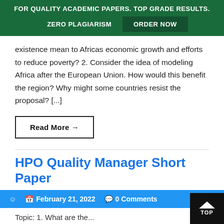FOR QUALITY ACADEMIC PAPERS. TOP GRADE RESULTS. ZERO PLAGIARISM ORDER NOW
existence mean to Africas economic growth and efforts to reduce poverty? 2. Consider the idea of modeling Africa after the European Union. How would this benefit the region? Why might some countries resist the proposal? [...]
Read More →
HPO Quality Manager Short Paper
February 21, 2022   0 Comments
Topic: 1. What are the...